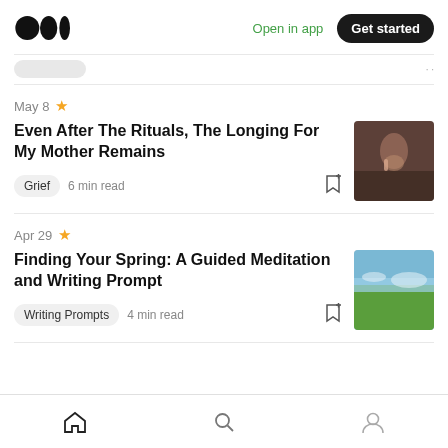[Figure (screenshot): Medium app logo — three overlapping circles]
Open in app
Get started
May 8
Even After The Rituals, The Longing For My Mother Remains
Grief  6 min read
[Figure (photo): Person in contemplative pose, warm tones]
Apr 29
Finding Your Spring: A Guided Meditation and Writing Prompt
Writing Prompts  4 min read
[Figure (photo): Green meadow with cloudy sky, spring landscape]